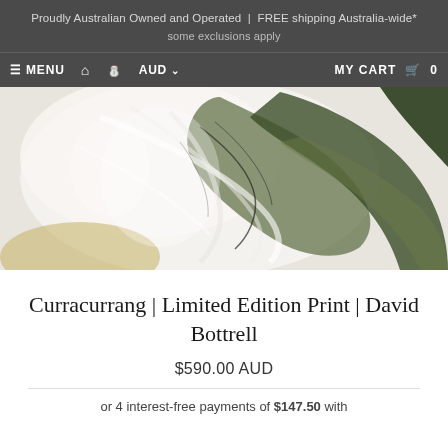Proudly Australian Owned and Operated | FREE shipping Australia-wide*
some exclusions apply
≡ MENU  🏠  👤  AUD ∨   MY CART 🛒 0
[Figure (photo): Aerial or abstract art print showing swirling white and olive-green forms, resembling a landscape or fluid art piece by David Bottrell titled Curracurrang]
Curracurrang | Limited Edition Print | David Bottrell
$590.00 AUD
or 4 interest-free payments of $147.50 with